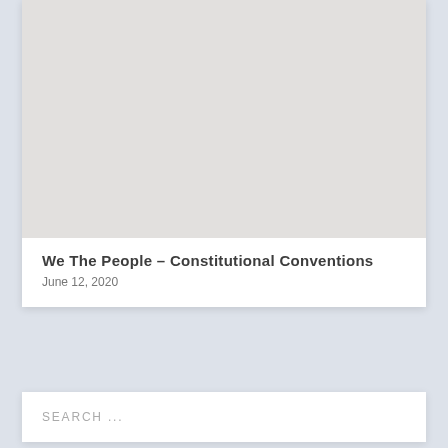[Figure (photo): Light gray placeholder image for the article thumbnail]
We The People – Constitutional Conventions
June 12, 2020
SEARCH ...